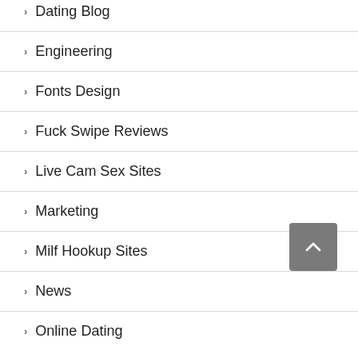Dating Blog
Engineering
Fonts Design
Fuck Swipe Reviews
Live Cam Sex Sites
Marketing
Milf Hookup Sites
News
Online Dating